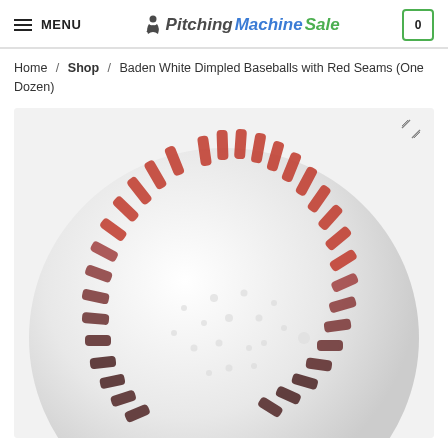MENU | PitchingMachineSale | Cart: 0
Home / Shop / Baden White Dimpled Baseballs with Red Seams (One Dozen)
[Figure (photo): Close-up photo of a Baden white dimpled baseball with red seams, showing the dimpled surface texture and red stitching seams arranged in a circular pattern around the ball, viewed from slightly above.]